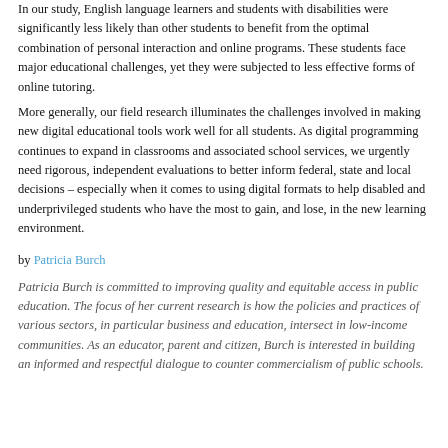In our study, English language learners and students with disabilities were significantly less likely than other students to benefit from the optimal combination of personal interaction and online programs. These students face major educational challenges, yet they were subjected to less effective forms of online tutoring. More generally, our field research illuminates the challenges involved in making new digital educational tools work well for all students. As digital programming continues to expand in classrooms and associated school services, we urgently need rigorous, independent evaluations to better inform federal, state and local decisions – especially when it comes to using digital formats to help disabled and underprivileged students who have the most to gain, and lose, in the new learning environment.
by Patricia Burch
Patricia Burch is committed to improving quality and equitable access in public education. The focus of her current research is how the policies and practices of various sectors, in particular business and education, intersect in low-income communities. As an educator, parent and citizen, Burch is interested in building an informed and respectful dialogue to counter commercialism of public schools.